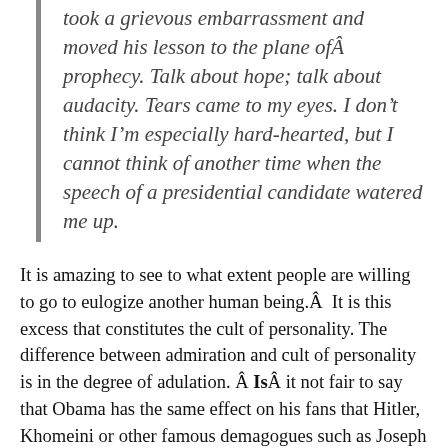took a grievous embarrassment and moved his lesson to the plane ofÂ prophecy. Talk about hope; talk about audacity. Tears came to my eyes. I don’t think I’m especially hard-hearted, but I cannot think of another time when the speech of a presidential candidate watered me up.
It is amazing to see to what extent people are willing to go to eulogize another human being.Â  It is this excess that constitutes the cult of personality. The difference between admiration and cult of personality is in the degree of adulation. Â IsÂ it not fair to say that Obama has the same effect on his fans that Hitler, Khomeini or other famous demagogues such as Joseph Stalin or Mao Ze Dong had? Â I am not equating Obama to those mass